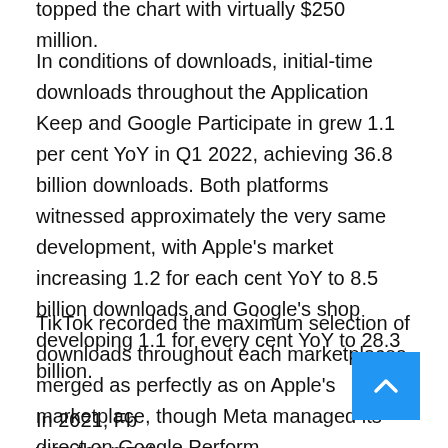topped the chart with virtually $250 million.
In conditions of downloads, initial-time downloads throughout the Application Keep and Google Participate in grew 1.1 per cent YoY in Q1 2022, achieving 36.8 billion downloads. Both platforms witnessed approximately the very same development, with Apple’s market increasing 1.2 for each cent YoY to 8.5 billion downloads and Google’s shop developing 1.1 for every cent YoY to 28.3 billion.
TikTok recorded the maximum selection of downloads throughout each marketplaces merged as perfectly as on Apple’s marketplace, though Meta managed its direct on Google Perform.
In 2021, Fb was the most downloaded app on Google Perform. This earlier quarter, that place